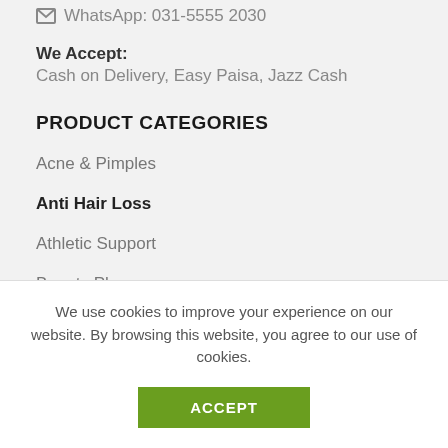WhatsApp: 031-5555 2030
We Accept:
Cash on Delivery, Easy Paisa, Jazz Cash
PRODUCT CATEGORIES
Acne & Pimples
Anti Hair Loss
Athletic Support
Beauty Plus
Brain Boost
We use cookies to improve your experience on our website. By browsing this website, you agree to our use of cookies.
ACCEPT